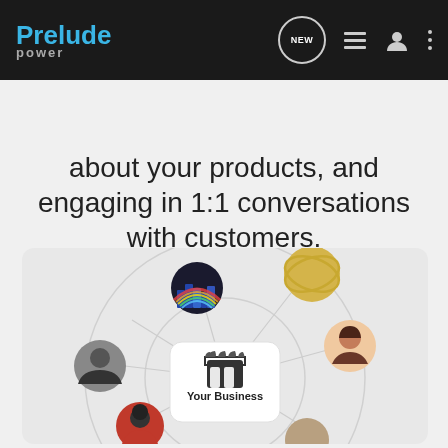[Figure (screenshot): Prelude Power app navigation bar with logo, NEW chat icon, list icon, user icon, and more icon]
[Figure (screenshot): Search Community search bar on dark background]
about your products, and engaging in 1:1 conversations with customers.
[Figure (illustration): Diagram showing 'Your Business' in center square connected by concentric circles to multiple customer avatar photos around it]